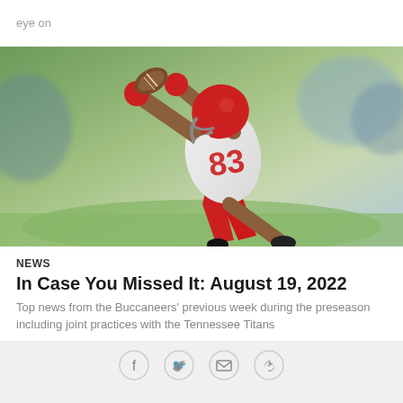eye on
[Figure (photo): NFL football player wearing Tampa Bay Buccaneers #83 white jersey and red helmet making a catch during practice]
NEWS
In Case You Missed It: August 19, 2022
Top news from the Buccaneers' previous week during the preseason including joint practices with the Tennessee Titans